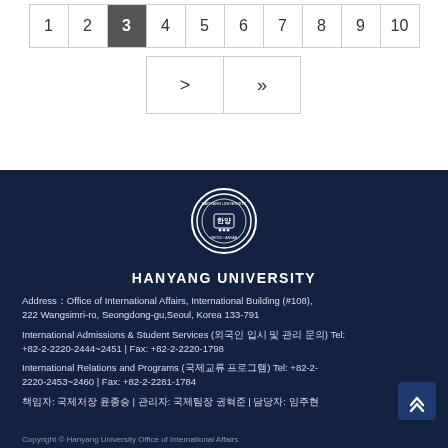| 1 | 2 | 3 | 4 | 5 | 6 | 7 | 8 | 9 | 10 |
| --- | --- | --- | --- | --- | --- | --- | --- | --- | --- |
| > | >> |
| --- | --- |
[Figure (logo): Hanyang University circular seal/logo with Korean text]
HANYANG UNIVERSITY
Address：Office of International Affairs, International Building (#108), 222 Wangsimri-ro, Seongdong-gu,Seoul, Korea 133-791
International Admissions & Student Services (외국인 입시 및 관리 문의) Tel: +82-2-2220-2444~2451 | Fax: +82-2-2220-1798
International Relations and Programs (국제교류 프로그램) Tel: +82-2-2220-2453~2460 | Fax: +82-2-2281-1784
책임자: 국제처장 윤종승 | 관리자: 국제팀장 권혁준 | 담당자: 임주현
Copyright © Hanyang University Office of International Affairs